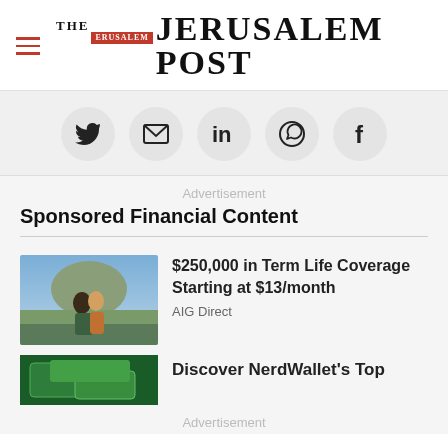THE JERUSALEM POST
[Figure (infographic): Social share icons row: Twitter, Email, LinkedIn, WhatsApp, Facebook — each in a light grey circle]
Advertisement
Sponsored Financial Content
[Figure (photo): Couple embracing outdoors near a lake with mountains in the background]
$250,000 in Term Life Coverage Starting at $13/month
AIG Direct
[Figure (photo): Partial view of green financial/banking cards or documents]
Discover NerdWallet's Top
Advertisement